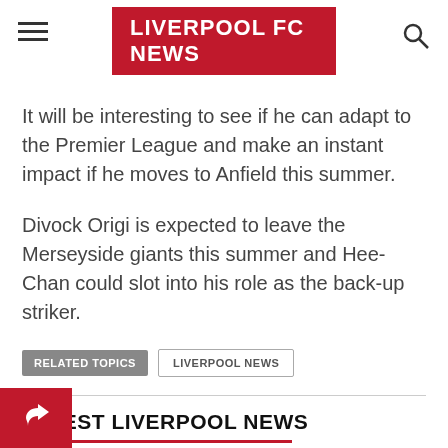LIVERPOOL FC NEWS
It will be interesting to see if he can adapt to the Premier League and make an instant impact if he moves to Anfield this summer.
Divock Origi is expected to leave the Merseyside giants this summer and Hee-Chan could slot into his role as the back-up striker.
RELATED TOPICS | LIVERPOOL NEWS
LATEST LIVERPOOL NEWS